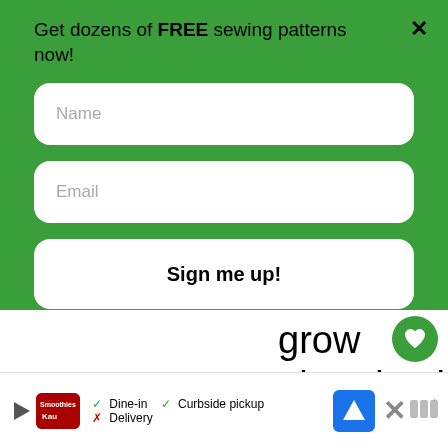Get dozens of FREE sewing patterns now!
Name
Email
Sign me up!
grow abundantly, we have no shortage
organic local
[Figure (screenshot): Smoothie King restaurant ad banner showing Dine-in, Curbside pickup checkmarks and Delivery with X, with navigation icon]
[Figure (infographic): What's Next widget showing Pencil Bag Sewing... with thumbnail image and arrow icon]